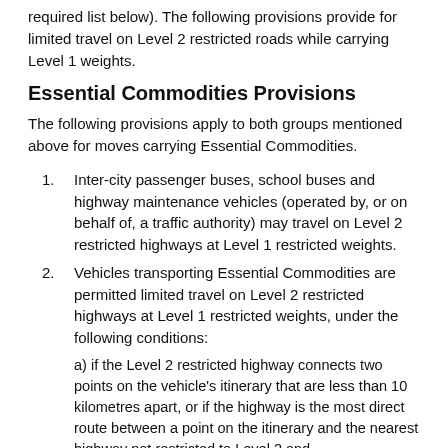required list below). The following provisions provide for limited travel on Level 2 restricted roads while carrying Level 1 weights.
Essential Commodities Provisions
The following provisions apply to both groups mentioned above for moves carrying Essential Commodities.
Inter-city passenger buses, school buses and highway maintenance vehicles (operated by, or on behalf of, a traffic authority) may travel on Level 2 restricted highways at Level 1 restricted weights.
Vehicles transporting Essential Commodities are permitted limited travel on Level 2 restricted highways at Level 1 restricted weights, under the following conditions:
a) if the Level 2 restricted highway connects two points on the vehicle's itinerary that are less than 10 kilometres apart, or if the highway is the most direct route between a point on the itinerary and the nearest highway not restricted to Level 2 and
b) if the Essential Commodities are transported between